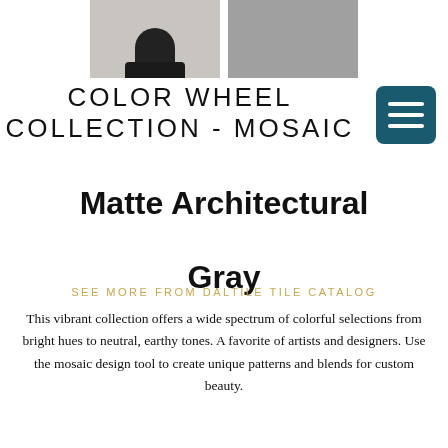[Figure (photo): Two product/room photos side by side: left shows a light gray floor with a black chair, right shows a dotted mosaic tile wall with a gray cabinet/sink]
COLOR WHEEL COLLECTION - MOSAIC
Matte Architectural Gray
SEE MORE FROM DALTILE TILE CATALOG
This vibrant collection offers a wide spectrum of colorful selections from bright hues to neutral, earthy tones. A favorite of artists and designers. Use the mosaic design tool to create unique patterns and blends for custom beauty.